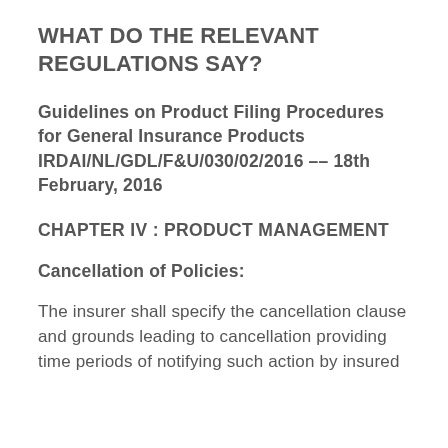WHAT DO THE RELEVANT REGULATIONS SAY?
Guidelines on Product Filing Procedures for General Insurance Products IRDAI/NL/GDL/F&U/030/02/2016 –– 18th February, 2016
CHAPTER IV : PRODUCT MANAGEMENT
Cancellation of Policies:
The insurer shall specify the cancellation clause and grounds leading to cancellation providing time periods of notifying such action by insured and insurer. The insurer may cancel the...